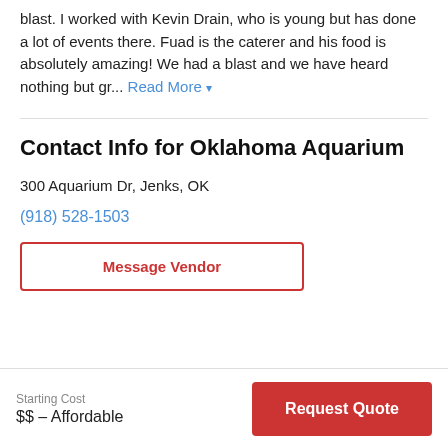blast. I worked with Kevin Drain, who is young but has done a lot of events there. Fuad is the caterer and his food is absolutely amazing! We had a blast and we have heard nothing but gr... Read More ▾
Contact Info for Oklahoma Aquarium
300 Aquarium Dr, Jenks, OK
(918) 528-1503
Message Vendor
Starting Cost
$$ – Affordable
Request Quote